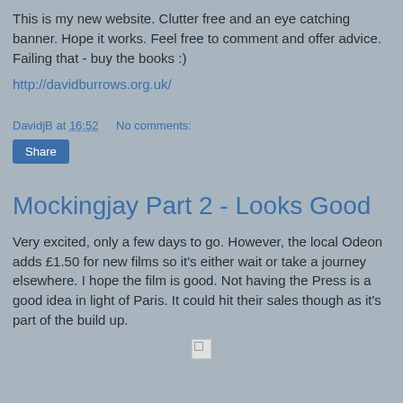This is my new website. Clutter free and an eye catching banner. Hope it works. Feel free to comment and offer advice. Failing that - buy the books :)
http://davidburrows.org.uk/
DavidjB at 16:52    No comments:
Share
Mockingjay Part 2 - Looks Good
Very excited, only a few days to go. However, the local Odeon adds £1.50 for new films so it's either wait or take a journey elsewhere. I hope the film is good. Not having the Press is a good idea in light of Paris. It could hit their sales though as it's part of the build up.
[Figure (photo): Broken/missing image placeholder at bottom of page]